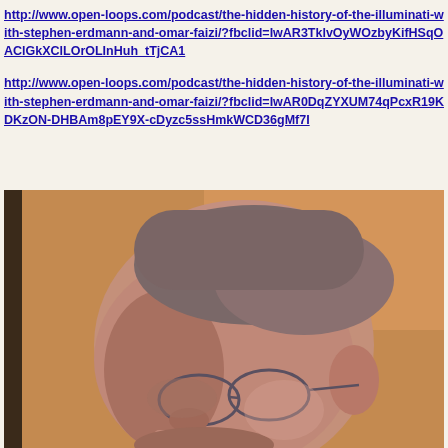http://www.open-loops.com/podcast/the-hidden-history-of-the-illuminati-with-stephen-erdmann-and-omar-faizi/?fbclid=IwAR3TklvOyWOzbyKifHSqOAClGkXClLOrOLInHuh_tTjCA1
http://www.open-loops.com/podcast/the-hidden-history-of-the-illuminati-with-stephen-erdmann-and-omar-faizi/?fbclid=IwAR0DqZYXUM74qPcxR19KDKzON-DHBAm8pEY9X-cDyzc5ssHmkWCD36gMf7I
[Figure (photo): Close-up photo of an elderly man with glasses, seen from the side/front, with short gray hair. Background is brownish/tan colored wall.]